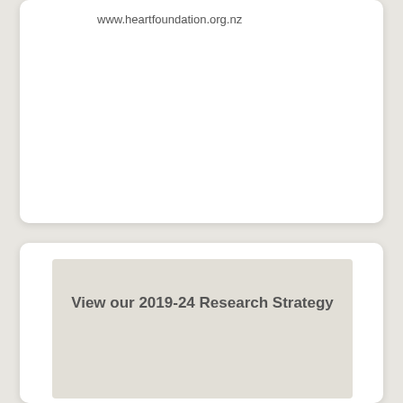www.heartfoundation.org.nz
View our 2019-24 Research Strategy